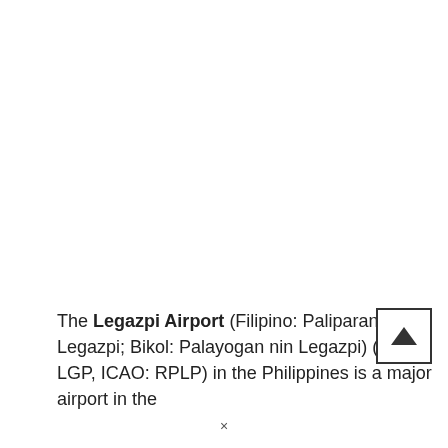The Legazpi Airport (Filipino: Paliparan ng Legazpi; Bikol: Palayogan nin Legazpi) (IATA: LGP, ICAO: RPLP) in the Philippines is a major airport in the
[Figure (other): Scroll-up button: a square button with a border containing an upward-pointing triangle/arrow icon]